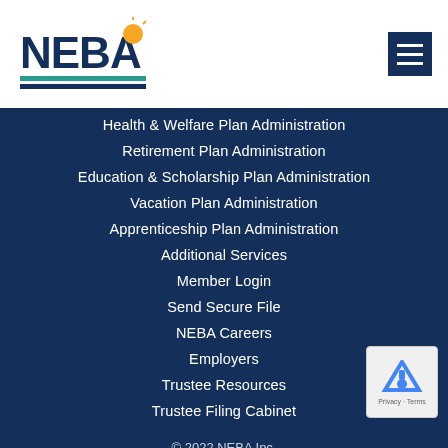[Figure (logo): NEBA logo with sun icon and blue/teal horizontal lines]
Health & Welfare Plan Administration
Retirement Plan Administration
Education & Scholarship Plan Administration
Vacation Plan Administration
Apprenticeship Plan Administration
Additional Services
Member Login
Send Secure File
NEBA Careers
Employers
Trustee Resources
Trustee Filing Cabinet
© 2022 NEBA Inc.
| Privacy Policy